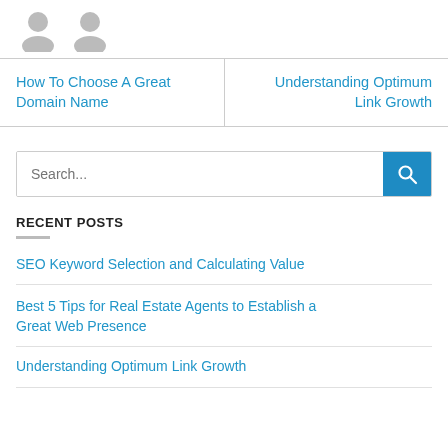[Figure (illustration): Two gray placeholder avatar silhouettes side by side]
How To Choose A Great Domain Name
Understanding Optimum Link Growth
Search...
RECENT POSTS
SEO Keyword Selection and Calculating Value
Best 5 Tips for Real Estate Agents to Establish a Great Web Presence
Understanding Optimum Link Growth